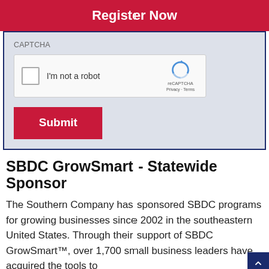Register Now
CAPTCHA
[Figure (screenshot): reCAPTCHA widget with checkbox labeled I'm not a robot, reCAPTCHA logo, Privacy and Terms links]
Submit
SBDC GrowSmart - Statewide Sponsor
The Southern Company has sponsored SBDC programs for growing businesses since 2002 in the southeastern United States. Through their support of SBDC GrowSmart™, over 1,700 small business leaders have acquired the tools to